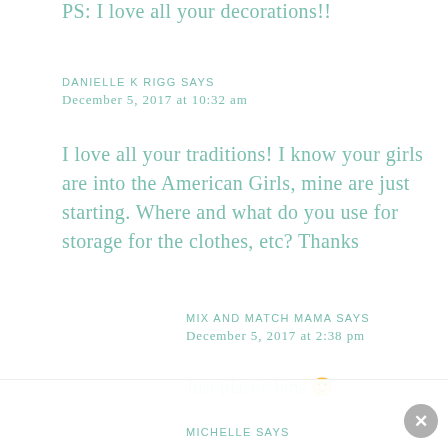PS: I love all your decorations!!
DANIELLE K RIGG SAYS
December 5, 2017 at 10:32 am
I love all your traditions! I know your girls are into the American Girls, mine are just starting. Where and what do you use for storage for the clothes, etc? Thanks
MIX AND MATCH MAMA SAYS
December 5, 2017 at 2:38 pm
Just plastic bins 🙂
MICHELLE SAYS